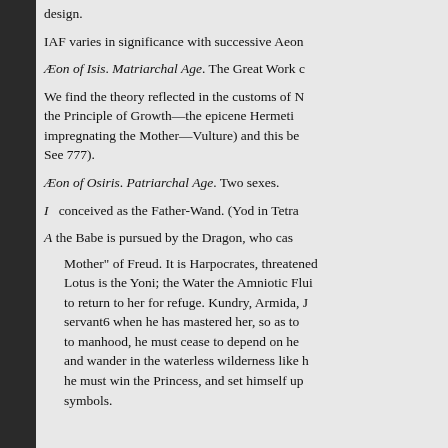design.
IAF varies in significance with successive Aeon
Æon of Isis. Matriarchal Age. The Great Work c
We find the theory reflected in the customs of N the Principle of Growth—the epicene Hermeti impregnating the Mother—Vulture) and this be See 777).
Æon of Osiris. Patriarchal Age. Two sexes.
I  conceived as the Father-Wand. (Yod in Tetra
A the Babe is pursued by the Dragon, who cas Mother" of Freud. It is Harpocrates, threatened Lotus is the Yoni; the Water the Amniotic Flui to return to her for refuge. Kundry, Armida, J servant6 when he has mastered her, so as to to manhood, he must cease to depend on he and wander in the waterless wilderness like h he must win the Princess, and set himself up symbols.